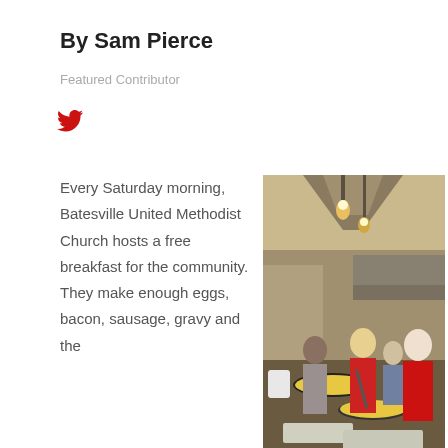By Sam Pierce
Featured Contributor
[Figure (illustration): Red Twitter bird icon]
Every Saturday morning, Batesville United Methodist Church hosts a free breakfast for the community. They make enough eggs, bacon, sausage, gravy and the
[Figure (photo): Volunteers cooking breakfast in a church kitchen. Several people wearing aprons are cooking eggs on a large stovetop. Industrial kitchen with hanging lights and stainless steel equipment.]